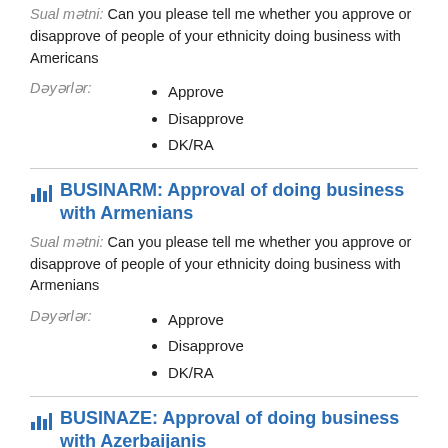Sual mətni: Can you please tell me whether you approve or disapprove of people of your ethnicity doing business with Americans
Approve
Disapprove
DK/RA
BUSINARM: Approval of doing business with Armenians
Sual mətni: Can you please tell me whether you approve or disapprove of people of your ethnicity doing business with Armenians
Approve
Disapprove
DK/RA
BUSINAZE: Approval of doing business with Azerbaijanis